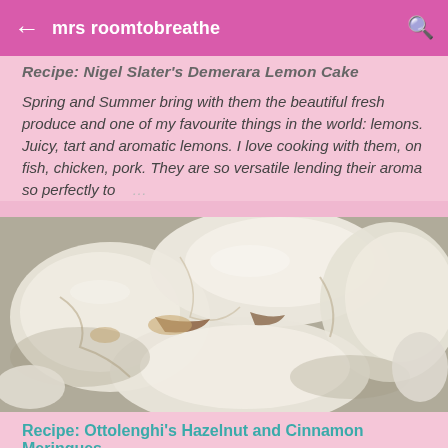mrs roomtobreathe
Recipe: Nigel Slater's Demerara Lemon Cake
Spring and Summer bring with them the beautiful fresh produce and one of my favourite things in the world: lemons. Juicy, tart and aromatic lemons. I love cooking with them, on fish, chicken, pork. They are so versatile lending their aroma so perfectly to …
[Figure (photo): Close-up photo of broken meringue pieces showing crispy white exterior and chewy interior with visible hazelnut and cinnamon filling, arranged on a metallic tray.]
Recipe: Ottolenghi's Hazelnut and Cinnamon Meringues
Despite being an experienced home Baker I've always shied away